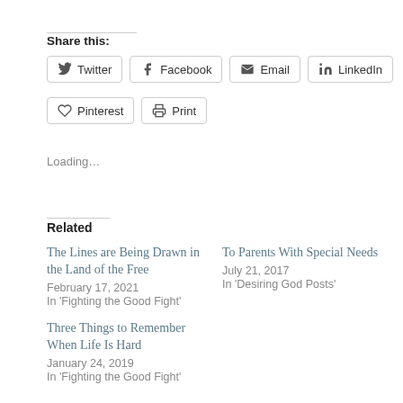Share this:
Twitter
Facebook
Email
LinkedIn
Pinterest
Print
Loading…
Related
The Lines are Being Drawn in the Land of the Free
February 17, 2021
In 'Fighting the Good Fight'
To Parents With Special Needs
July 21, 2017
In 'Desiring God Posts'
Three Things to Remember When Life Is Hard
January 24, 2019
In 'Fighting the Good Fight'